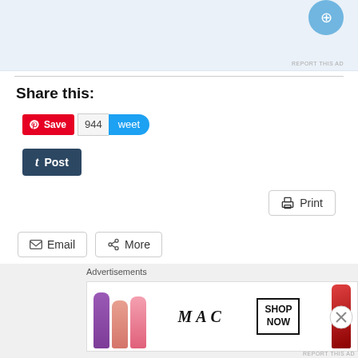[Figure (screenshot): Top portion of an advertisement with blue icon and light blue background, with REPORT THIS AD text]
REPORT THIS AD
Share this:
[Figure (screenshot): Pinterest Save button (red), Twitter tweet button with count 944]
[Figure (screenshot): Tumblr Post button (dark navy)]
[Figure (screenshot): Print button]
[Figure (screenshot): Email button and More button]
[Figure (screenshot): Like button with star icon]
Be the first to like this.
Advertisements
[Figure (photo): MAC Cosmetics advertisement showing colorful lipsticks with SHOP NOW text]
REPORT THIS AD